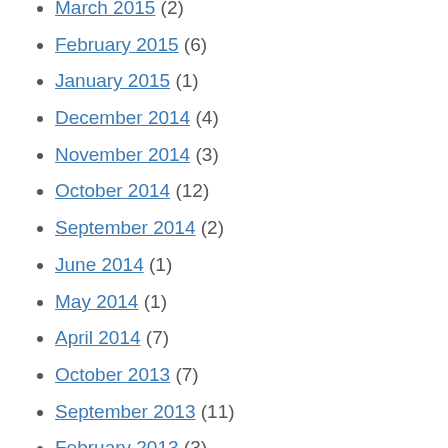March 2015 (2)
February 2015 (6)
January 2015 (1)
December 2014 (4)
November 2014 (3)
October 2014 (12)
September 2014 (2)
June 2014 (1)
May 2014 (1)
April 2014 (7)
October 2013 (7)
September 2013 (11)
February 2013 (3)
January 2013 (5)
November 2012 (4)
October 2012 (12)